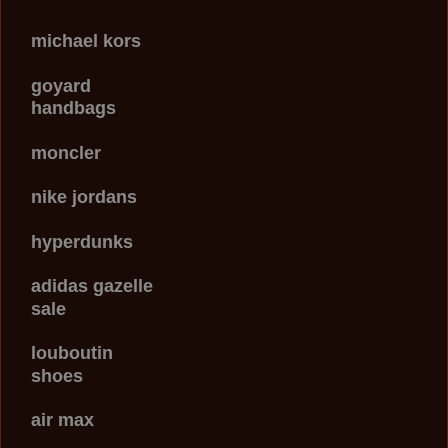michael kors
goyard handbags
moncler
nike jordans
hyperdunks
adidas gazelle sale
louboutin shoes
air max
kevin durant shoes
irving shoes
balenciaga